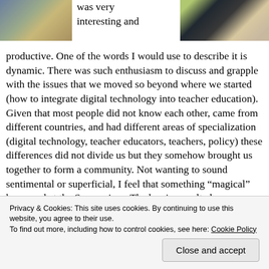[Figure (photo): Partial photo of a man in a white shirt and khaki pants standing outdoors, cropped at top left of page]
was very interesting and productive.
[Figure (photo): Partial photo of a group of people at an event with green and dark backgrounds, cropped at top right of page]
productive. One of the words I would use to describe it is dynamic. There was such enthusiasm to discuss and grapple with the issues that we moved so beyond where we started (how to integrate digital technology into teacher education). Given that most people did not know each other, came from different countries, and had different areas of specialization (digital technology, teacher educators, teachers, policy) these differences did not divide us but they somehow brought us together to form a community. Not wanting to sound sentimental or superficial, I feel that something “magical” happened at the Symposium. The barriers melted away
Privacy & Cookies: This site uses cookies. By continuing to use this website, you agree to their use.
To find out more, including how to control cookies, see here: Cookie Policy
Close and accept